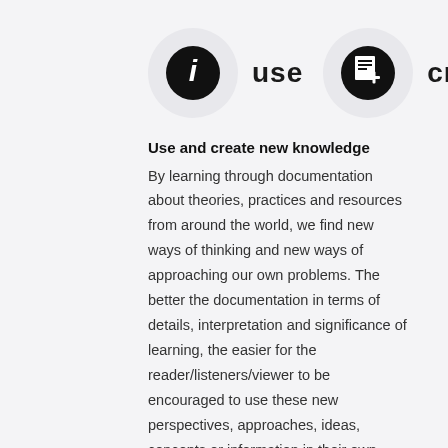[Figure (infographic): Two circular icons side by side. Left: dark circle with white letter 'i' inside a lighter grey outer circle, labeled 'use'. Right: dark circle with white document/pages icon inside a lighter grey outer circle, labeled 'create'.]
Use and create new knowledge
By learning through documentation about theories, practices and resources from around the world, we find new ways of thinking and new ways of approaching our own problems. The better the documentation in terms of details, interpretation and significance of learning, the easier for the reader/listeners/viewer to be encouraged to use these new perspectives, approaches, ideas, concepts or information in their own learning and teaching practices. As we document, let's keep other learners in mind who might want to follow in our footsteps and not re-invent the wheel by taking advantage of our experiences, theories, interpretation, conclusions, successes and falitures. Part of the amplification of traditional literacies is the